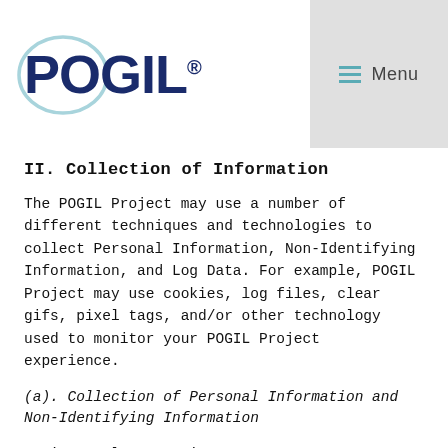[Figure (logo): POGIL logo with light blue circle behind the letters and dark navy blue POGIL text with registered trademark symbol]
Menu
II. Collection of Information
The POGIL Project may use a number of different techniques and technologies to collect Personal Information, Non-Identifying Information, and Log Data. For example, POGIL Project may use cookies, log files, clear gifs, pixel tags, and/or other technology used to monitor your POGIL Project experience.
(a). Collection of Personal Information and Non-Identifying Information
As is regular practice on many company Websites, the POGIL Project Website uses cookies and other technologies to help us understand which parts of our POGIL Project Website are most used and